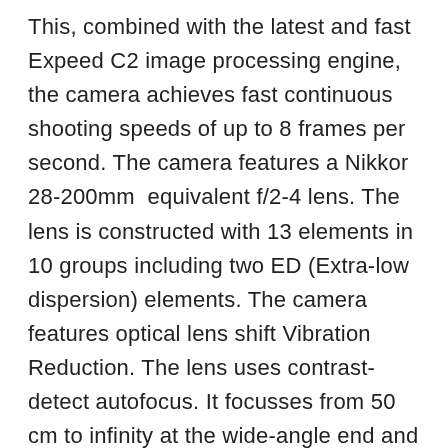This, combined with the latest and fast Expeed C2 image processing engine, the camera achieves fast continuous shooting speeds of up to 8 frames per second. The camera features a Nikkor 28-200mm equivalent f/2-4 lens. The lens is constructed with 13 elements in 10 groups including two ED (Extra-low dispersion) elements. The camera features optical lens shift Vibration Reduction. The lens uses contrast-detect autofocus. It focusses from 50 cm to infinity at the wide-angle end and from 80 cm to infinity at the telephoto end. In Macro mode, it focusses as close as 2 cm (all distances measured from the front element of the lens). Focus area modes are Face Priority, Auto (9-area automatic selection), Centre (wide, normal), Manual with 99 focus areas, Subject Tracking, and Target-finding AF. The camera features Auto, Scene, Special Effects, P, S, A, M, and User settings. It also has 20 scene modes including Scene Auto Selector, Panorama, and 3D photography. Still